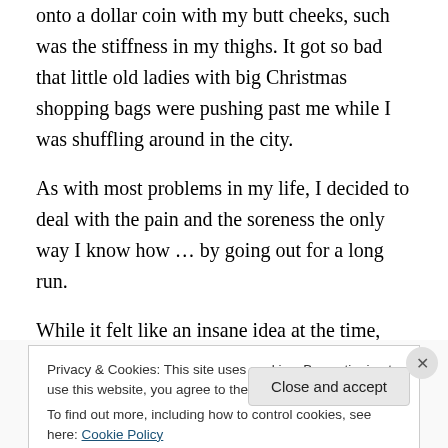onto a dollar coin with my butt cheeks, such was the stiffness in my thighs. It got so bad that little old ladies with big Christmas shopping bags were pushing past me while I was shuffling around in the city.
As with most problems in my life, I decided to deal with the pain and the soreness the only way I know how … by going out for a long run.
While it felt like an insane idea at the time, particularly as I had difficulty even bending down just to tie my running shoelaces, it turned out to be the best method of recovery,
Privacy & Cookies: This site uses cookies. By continuing to use this website, you agree to their use.
To find out more, including how to control cookies, see here: Cookie Policy
Close and accept
Follow ···